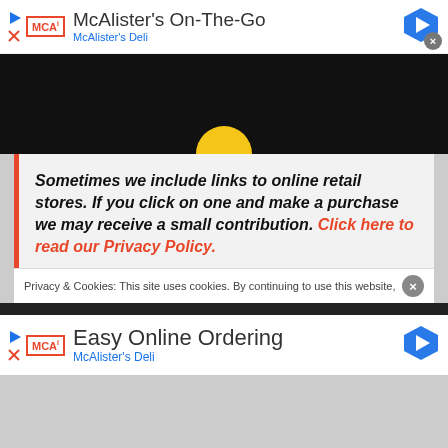[Figure (screenshot): Top advertisement bar showing McAlister's On-The-Go ad with MCA logo, navigation arrow icon and close button]
[Figure (screenshot): Dark background area with a yellow semi-circle at bottom center]
Sometimes we include links to online retail stores. If you click on one and make a purchase we may receive a small contribution. Click here to read our Privacy Policy.
Privacy & Cookies: This site uses cookies. By continuing to use this website,
[Figure (screenshot): Bottom advertisement bar showing Easy Online Ordering McAlister's Deli ad]